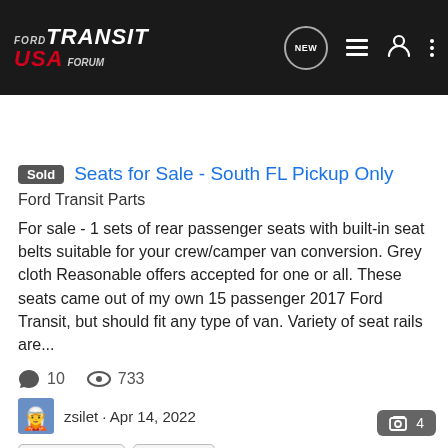Ford Transit USA Forum - Navigation bar with search
Seats for Sale - South FL Pickup Only
Ford Transit Parts
For sale - 1 sets of rear passenger seats with built-in seat belts suitable for your crew/camper van conversion. Grey cloth Reasonable offers accepted for one or all. These seats came out of my own 15 passenger 2017 Ford Transit, but should fit any type of van. Variety of seat rails are...
10 comments · 733 views
zsilet · Apr 14, 2022
bench seats  seat rails
$200 USD